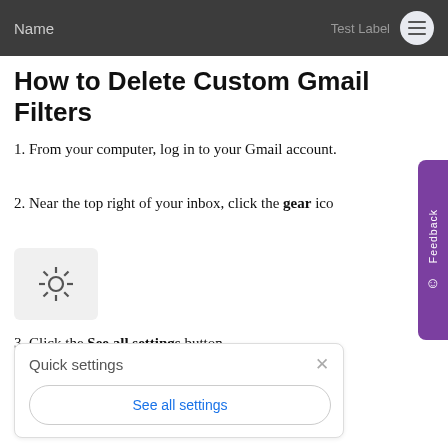Name   Test Label ☰
How to Delete Custom Gmail Filters
1. From your computer, log in to your Gmail account.
2. Near the top right of your inbox, click the gear icon.
[Figure (screenshot): Gray box with a gear/settings icon inside]
3. Click the See all settings button.
[Figure (screenshot): Quick settings panel with header 'Quick settings', an X close button, and a 'See all settings' button]
Feedback tab on the right side